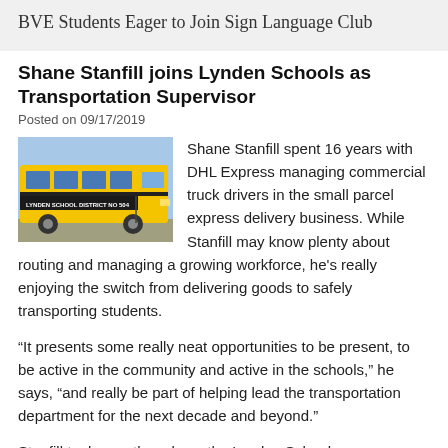BVE Students Eager to Join Sign Language Club
Shane Stanfill joins Lynden Schools as Transportation Supervisor
Posted on 09/17/2019
[Figure (photo): Yellow school bus with 'LYNDEN SCHOOL DISTRICT NO 504' text on the side]
Shane Stanfill spent 16 years with DHL Express managing commercial truck drivers in the small parcel express delivery business. While Stanfill may know plenty about routing and managing a growing workforce, he’s really enjoying the switch from delivering goods to safely transporting students.
“It presents some really neat opportunities to be present, to be active in the community and active in the schools,” he says, “and really be part of helping lead the transportation department for the next decade and beyond.”
Stanfill took over the role as the Lynden Schools transportation supervisor in late July, quickly getting up to speed on the Lynden